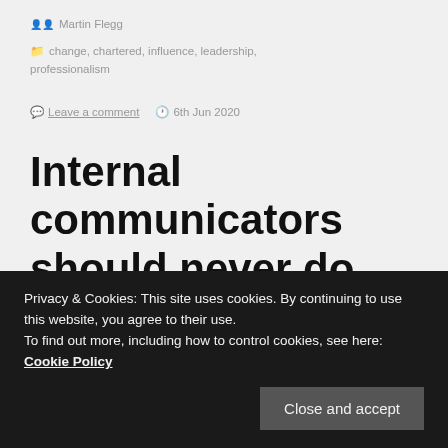Martin Flegg
change, chartered, influence, leadership, professionalism
Leave a comment   6th Jun 2020
Internal communicators should never do ‘owt for nowt’
Privacy & Cookies: This site uses cookies. By continuing to use this website, you agree to their use.
To find out more, including how to control cookies, see here: Cookie Policy
Close and accept